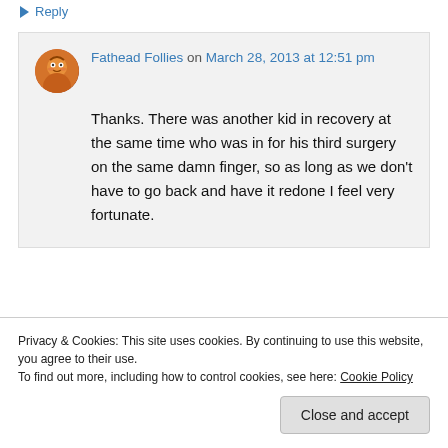↳ Reply
Fathead Follies on March 28, 2013 at 12:51 pm
Thanks. There was another kid in recovery at the same time who was in for his third surgery on the same damn finger, so as long as we don't have to go back and have it redone I feel very fortunate.
Privacy & Cookies: This site uses cookies. By continuing to use this website, you agree to their use.
To find out more, including how to control cookies, see here: Cookie Policy
Close and accept